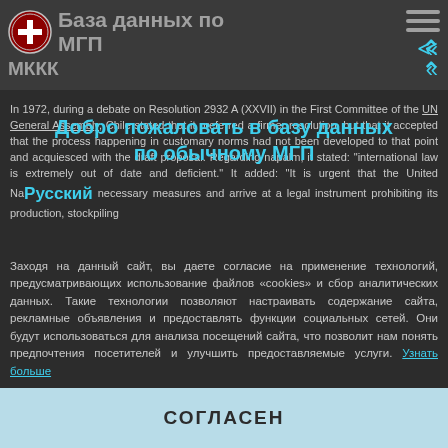База данных по МГП МККК
In 1972, during a debate on Resolution 2932 A (XXVII) in the First Committee of the UN General Assembly, Chile stated that it preferred a firmer resolution, but that it accepted that the process has occurring in customary norms had not been developed to that point and acquiesced with the draft proposal. Regarding napalm, it stated: "international law is extremely out of date and deficient." It added: "It is urgent that the United Nations take necessary measures and arrive at a legal instrument prohibiting its production, stockpiling
Добро пожаловать в базу данных по обычному МГП
Русский
Заходя на данный сайт, вы даете согласие на применение технологий, предусматривающих использование файлов «cookies» и сбор аналитических данных. Такие технологии позволяют настраивать содержание сайта, рекламные объявления и предоставлять функции социальных сетей. Они будут использоваться для анализа посещений сайта, что позволит нам понять предпочтения посетителей и улучшить предоставляемые услуги. Узнать больше
СОГЛАСЕН